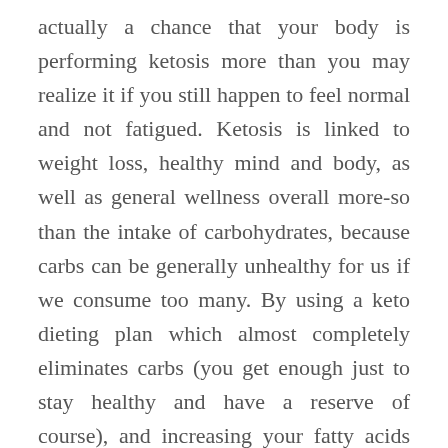actually a chance that your body is performing ketosis more than you may realize it if you still happen to feel normal and not fatigued. Ketosis is linked to weight loss, healthy mind and body, as well as general wellness overall more-so than the intake of carbohydrates, because carbs can be generally unhealthy for us if we consume too many. By using a keto dieting plan which almost completely eliminates carbs (you get enough just to stay healthy and have a reserve of course), and increasing your fatty acids and healthy fats and vitamins, you can even have better sleep and more energy overall.
Ketosis has also been linked to helping to all